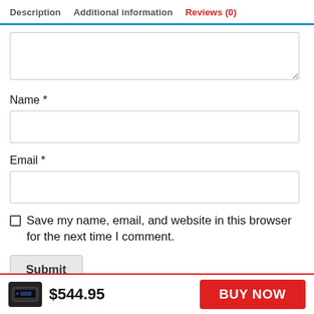Description  Additional information  Reviews (0)
[Figure (screenshot): Partial text area input field (top cut off), followed by form fields for Name and Email with input boxes, a checkbox for saving browser info, a Submit button, and a bottom bar with product image, price $544.95, and BUY NOW button.]
Name *
Email *
Save my name, email, and website in this browser for the next time I comment.
Submit
$544.95  BUY NOW